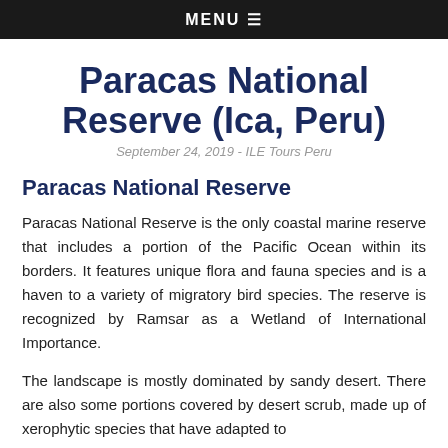MENU ☰
Paracas National Reserve (Ica, Peru)
September 24, 2019 - ILE Tours Peru
Paracas National Reserve
Paracas National Reserve is the only coastal marine reserve that includes a portion of the Pacific Ocean within its borders. It features unique flora and fauna species and is a haven to a variety of migratory bird species. The reserve is recognized by Ramsar as a Wetland of International Importance.
The landscape is mostly dominated by sandy desert. There are also some portions covered by desert scrub, made up of xerophytic species that have adapted to